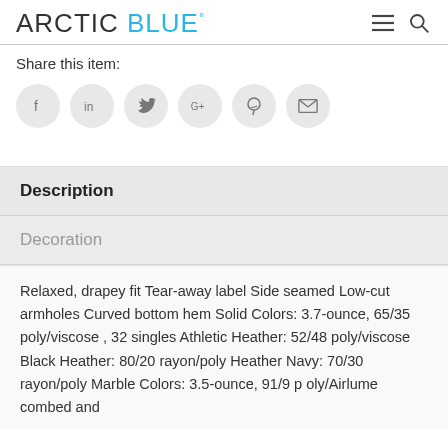ARCTIC BLUE°
Share this item:
[Figure (other): Six social sharing icon buttons (Facebook, LinkedIn, Twitter, Google+, Pinterest, Email) displayed as circular grey buttons]
Description
Decoration
Relaxed, drapey fit Tear-away label Side seamed Low-cut armholes Curved bottom hem Solid Colors: 3.7-ounce, 65/35 poly/viscose , 32 singles Athletic Heather: 52/48 poly/viscose Black Heather: 80/20 rayon/poly Heather Navy: 70/30 rayon/poly Marble Colors: 3.5-ounce, 91/9 poly/Airlume combed and